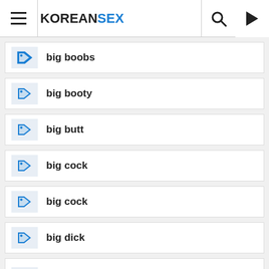KOREANSEX
big boobs
big booty
big butt
big cock
big cock
big dick
big dick
GO TOP
big dicks